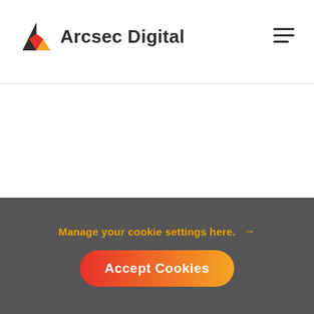Arcsec Digital
Manage your cookie settings here. →
Accept Cookies